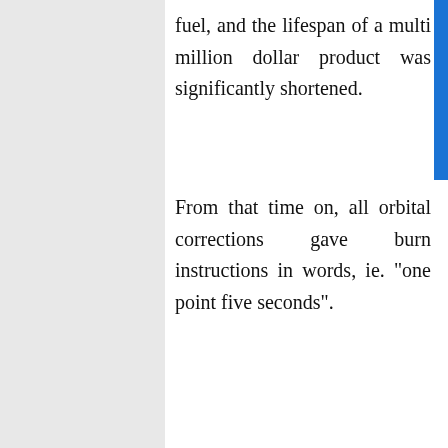fuel, and the lifespan of a multi million dollar product was significantly shortened.
From that time on, all orbital corrections gave burn instructions in words, ie. "one point five seconds".
[Figure (logo): POWERED BY SUMO badge/logo]
Reply
I have a newsletter!
Let me tell you about special new content and products to help you create great apps people will love.
Enter your Email
count me in!